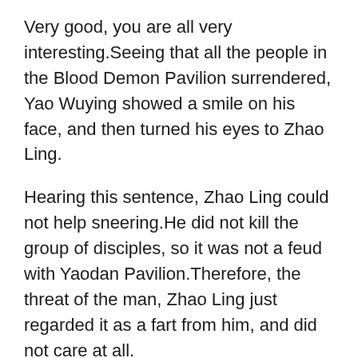Very good, you are all very interesting.Seeing that all the people in the Blood Demon Pavilion surrendered, Yao Wuying showed a smile on his face, and then turned his eyes to Zhao Ling.
Hearing this sentence, Zhao Ling could not help sneering.He did not kill the group of disciples, so it was not a feud with Yaodan Pavilion.Therefore, the threat of the man, Zhao Ling just regarded it as a fart from him, and did not care at all.
Oh Are you afraid now Zhao Ling sneered and sneered.The Blood Emperor was indeed afraid.Outside, under the protection of the blood colored demon coffin, he could continue to survive even if his soul died, but in this demon tower, he had no choice.
As long as it is not in the realm of the realm, he has the confidence to win the opponent.And he did not know what